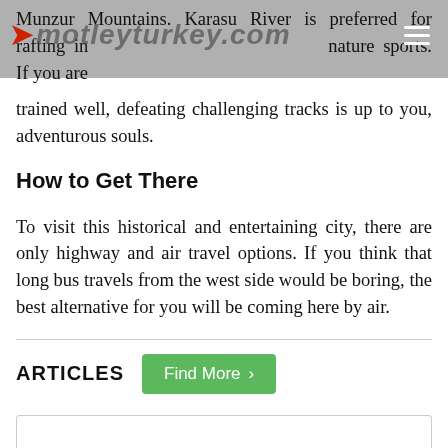motleyturkey.com
Munzur Mountains. Karasu River is preferred for rafting in Erzincan. Erzincan is rich in nature sports. If you are trained well, defeating challenging tracks is up to you, adventurous souls.
How to Get There
To visit this historical and entertaining city, there are only highway and air travel options. If you think that long bus travels from the west side would be boring, the best alternative for you will be coming here by air.
ARTICLES
Find More >